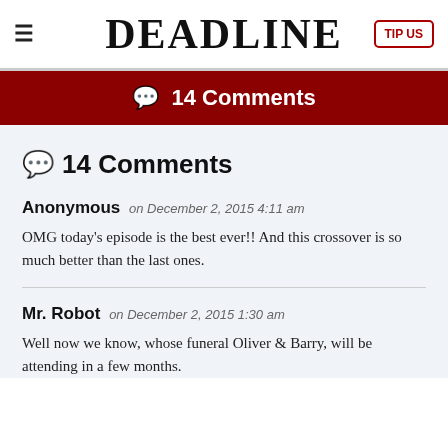DEADLINE
💬 14 Comments
💬 14 Comments
Anonymous on December 2, 2015 4:11 am
OMG today's episode is the best ever!! And this crossover is so much better than the last ones.
Mr. Robot on December 2, 2015 1:30 am
Well now we know, whose funeral Oliver & Barry, will be attending in a few months.